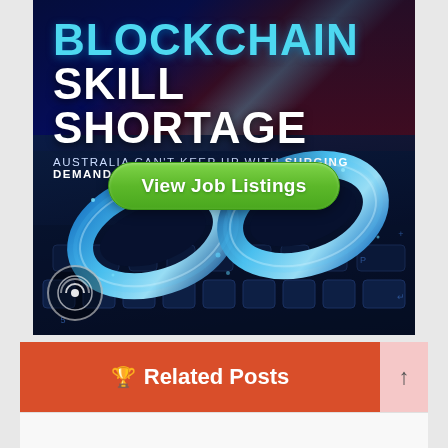[Figure (illustration): Promotional advertisement for blockchain jobs in Australia. Dark blue background with Australian flag motif. Large text reads 'BLOCKCHAIN SKILL SHORTAGE' in cyan and white bold letters. Subtitle: 'AUSTRALIA CAN'T KEEP UP WITH SURGING DEMAND'. Green rounded button labeled 'View Job Listings'. Bottom half shows glowing blue digital chain links on a dark keyboard background. Small circular logo (radio waves icon) in bottom-left corner.]
🏆 Related Posts